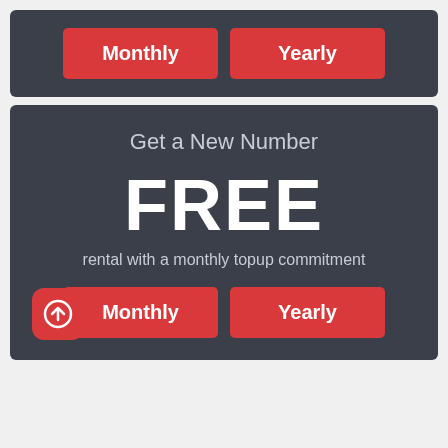[Figure (screenshot): Top dark panel with two red buttons labeled Monthly and Yearly]
Get a New Number
FREE
rental with a monthly topup commitment
[Figure (screenshot): Bottom dark panel with red upload icon button and two red buttons labeled Monthly and Yearly]